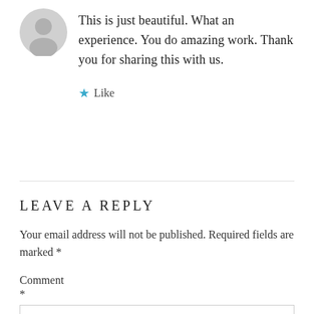[Figure (illustration): Gray circular avatar icon with person silhouette]
This is just beautiful. What an experience. You do amazing work. Thank you for sharing this with us.
★ Like
LEAVE A REPLY
Your email address will not be published. Required fields are marked *
Comment *